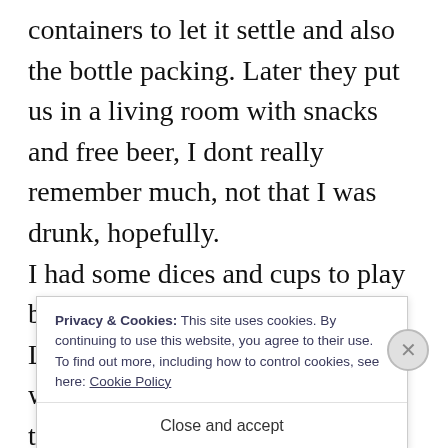containers to let it settle and also the bottle packing. Later they put us in a living room with snacks and free beer, I dont really remember much, not that I was drunk, hopefully.
I had some dices and cups to play but give them away already.
Long ago they put a free drinkable water faucet for people just to take, specially since the neighbourhood behind it is very poor, but I think
Privacy & Cookies: This site uses cookies. By continuing to use this website, you agree to their use.
To find out more, including how to control cookies, see here: Cookie Policy
Close and accept